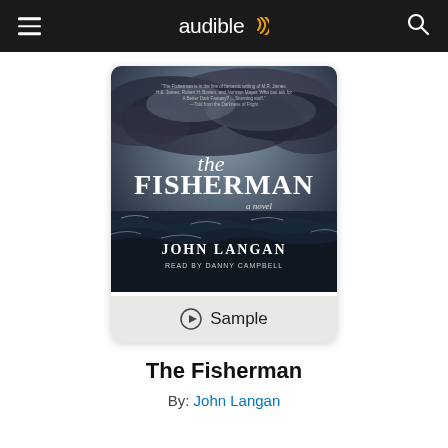audible
[Figure (photo): Book cover of 'The Fisherman: A Novel' by John Langan, read by Danny Campbell. Stormy ocean waves with dramatic dark cloudy sky. Title text in white serif font.]
Sample
The Fisherman
By: John Langan